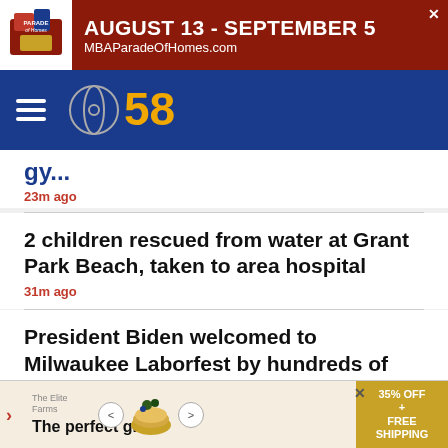[Figure (screenshot): Top banner advertisement for MBA Parade of Homes August 13 - September 5, MBAParadeOfHomes.com]
[Figure (logo): CBS 58 navigation header with hamburger menu and CBS 58 logo on blue background]
23m ago
2 children rescued from water at Grant Park Beach, taken to area hospital
31m ago
President Biden welcomed to Milwaukee Laborfest by hundreds of supporters and opposition
1h ago
[Figure (screenshot): Bottom advertisement: The perfect gift with food image, 35% OFF + FREE SHIPPING]